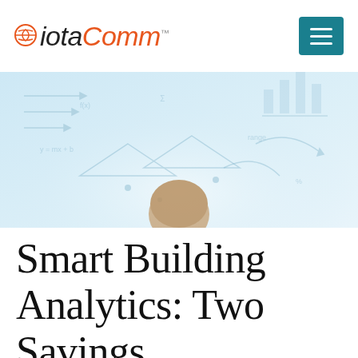IotaComm
[Figure (photo): Person viewed from behind looking at a light blue background covered with handwritten analytics diagrams, charts, arrows and formulas]
Smart Building Analytics: Two Savings Opportunities